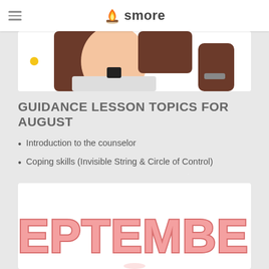smore
[Figure (illustration): Cartoon illustration of a person with dark hair, partially cropped at top, shown from shoulders up. A yellow dot indicator is visible on the left side.]
GUIDANCE LESSON TOPICS FOR AUGUST
Introduction to the counselor
Coping skills (Invisible String & Circle of Control)
[Figure (illustration): Decorative image with the word SEPTEMBER in large pink/salmon block letters with a rounded retro style, arched across the image.]